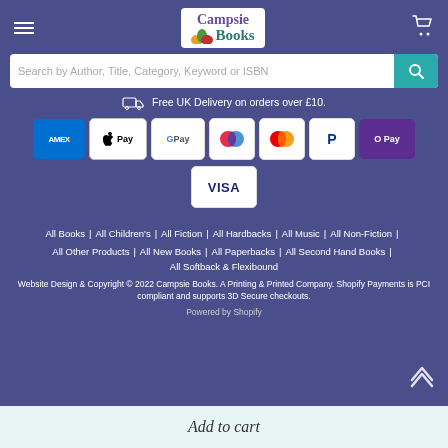[Figure (logo): Campsie Books logo with colourful book icon on white background]
Search by Author, Title, Category, Keyword or ISBN
Free UK Delivery on orders over £10.
[Figure (infographic): Payment method badges: AMEX, Apple Pay, Google Pay, Maestro, Mastercard, PayPal, O Pay, VISA]
All Books | All Children's | All Fiction | All Hardbacks | All Music | All Non-Fiction | All Other Products | All New Books | All Paperbacks | All Second Hand Books | All Softback & Flexibound
Website Design & Copyright © 2022 Campsie Books. A Printing & Printed Company. Shopify Payments is PCI compliant and supports 3D Secure checkouts.
Powered by Shopify
Add to cart